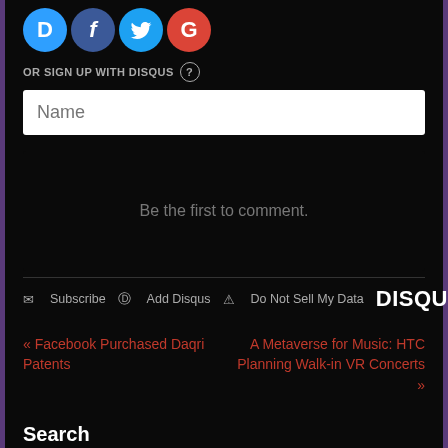[Figure (other): Social login icons: Disqus (D, blue), Facebook (f, dark blue), Twitter (bird, light blue), Google (G, red) — circular icons in a row]
OR SIGN UP WITH DISQUS ?
Name
Be the first to comment.
Subscribe  Add Disqus  Do Not Sell My Data  DISQUS
« Facebook Purchased Daqri Patents
A Metaverse for Music: HTC Planning Walk-in VR Concerts »
Search